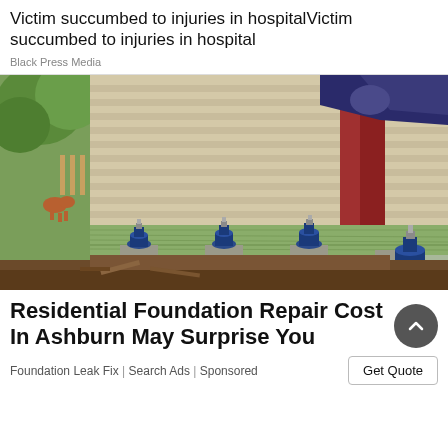Victim succumbed to injuries in hospitalVictim succumbed to injuries in hospital
Black Press Media
[Figure (photo): A house being lifted or leveled with hydraulic jacks placed under the wooden beam foundation. The house has horizontal wood siding with a red door trim. Multiple blue hydraulic bottle jacks are visible supporting the structure. Dirt and debris are visible on the ground beneath.]
Residential Foundation Repair Cost In Ashburn May Surprise You
Foundation Leak Fix | Search Ads | Sponsored